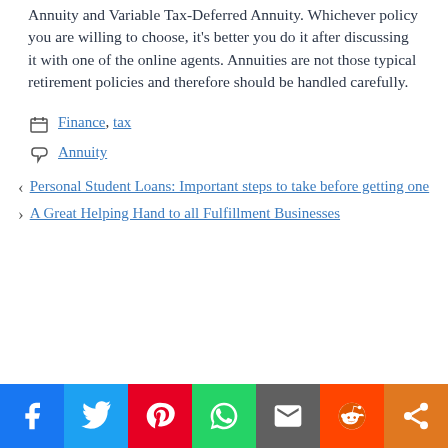Annuity and Variable Tax-Deferred Annuity. Whichever policy you are willing to choose, it's better you do it after discussing it with one of the online agents. Annuities are not those typical retirement policies and therefore should be handled carefully.
Categories: Finance, tax
Tags: Annuity
Personal Student Loans: Important steps to take before getting one
A Great Helping Hand to all Fulfillment Businesses
[Figure (infographic): Social sharing bar with icons for Facebook, Twitter, Pinterest, WhatsApp, Email, Reddit, and Share]